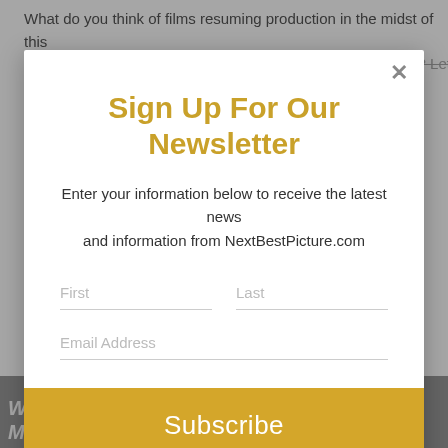What do you think of films resuming production in the midst of this pandemic? Are you excited to see this new take on Batman? Let us
Sign Up For Our Newsletter
Enter your information below to receive the latest news and information from NextBestPicture.com
First
Last
Email Address
Subscribe
Why One Multiverse Film
How Is The 2021 Oscar Race For